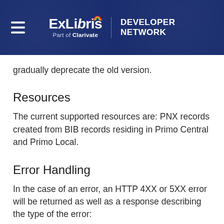ExLibris Part of Clarivate | DEVELOPER NETWORK
gradually deprecate the old version.
Resources
The current supported resources are: PNX records created from BIB records residing in Primo Central and Primo Local.
Error Handling
In the case of an error, an HTTP 4XX or 5XX error will be returned as well as a response describing the type of the error: